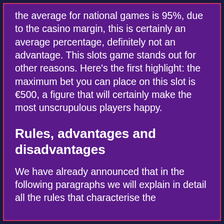the average for national games is 95%, due to the casino margin, this is certainly an average percentage, definitely not an advantage. This slots game stands out for other reasons. Here's the first highlight: the maximum bet you can place on this slot is €500, a figure that will certainly make the most unscrupulous players happy.
Rules, advantages and disadvantages
We have already announced that in the following paragraphs we will explain in detail all the rules that characterise the